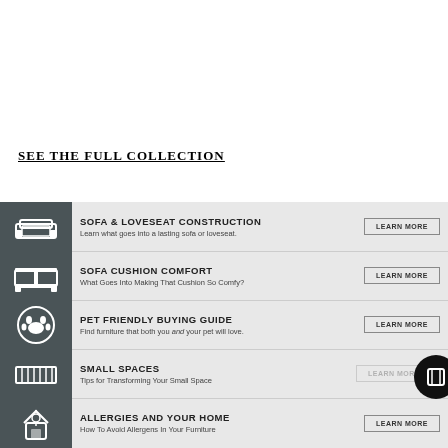SEE THE FULL COLLECTION
[Figure (infographic): Infographic menu with 5 rows: Sofa & Loveseat Construction, Sofa Cushion Comfort, Pet Friendly Buying Guide, Small Spaces, Allergies and Your Home. Each row has a dark icon on the left and a LEARN MORE button on the right.]